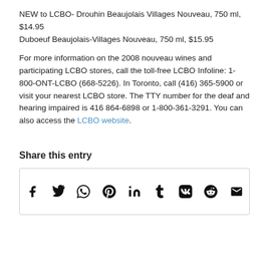NEW to LCBO- Drouhin Beaujolais Villages Nouveau, 750 ml, $14.95
Duboeuf Beaujolais-Villages Nouveau, 750 ml, $15.95
For more information on the 2008 nouveau wines and participating LCBO stores, call the toll-free LCBO Infoline: 1-800-ONT-LCBO (668-5226). In Toronto, call (416) 365-5900 or visit your nearest LCBO store. The TTY number for the deaf and hearing impaired is 416 864-6898 or 1-800-361-3291. You can also access the LCBO website.
Share this entry
[Figure (infographic): Social sharing icons row: Facebook, Twitter, WhatsApp, Pinterest, LinkedIn, Tumblr, VK, Reddit, Email]